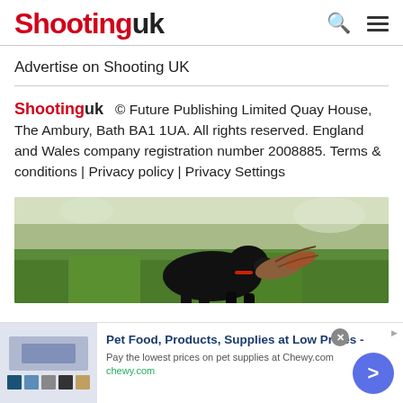Shooting uk
Advertise on Shooting UK
Shootinguk © Future Publishing Limited Quay House, The Ambury, Bath BA1 1UA. All rights reserved. England and Wales company registration number 2008885. Terms & conditions | Privacy policy | Privacy Settings
[Figure (photo): A black Labrador dog carrying a pheasant in its mouth across a green field.]
[Figure (screenshot): Advertisement banner: Pet Food, Products, Supplies at Low Prices - chewy.com. Pay the lowest prices on pet supplies at Chewy.com. Navigation arrow button in blue/purple.]